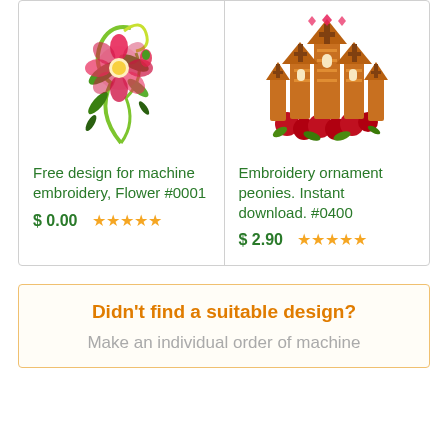[Figure (illustration): Flower embroidery design with pink flower and green leaves]
Free design for machine embroidery, Flower #0001
$ 0.00 ★★★★★
[Figure (illustration): Embroidery ornament with church/cathedral shapes decorated with flowers and cross patterns]
Embroidery ornament peonies. Instant download. #0400
$ 2.90 ★★★★★
Didn't find a suitable design?
Make an individual order of machine